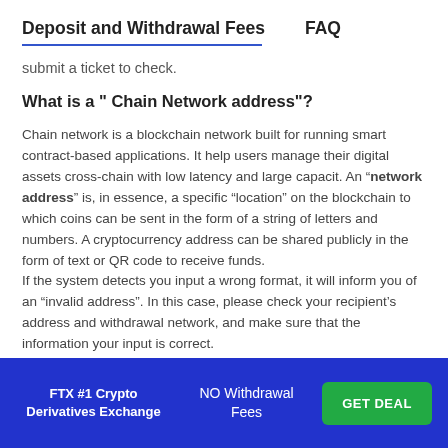Deposit and Withdrawal Fees    FAQ
submit a ticket to check.
What is a " Chain Network address"?
Chain network is a blockchain network built for running smart contract-based applications. It help users manage their digital assets cross-chain with low latency and large capacit. An “network address” is, in essence, a specific “location” on the blockchain to which coins can be sent in the form of a string of letters and numbers. A cryptocurrency address can be shared publicly in the form of text or QR code to receive funds.
If the system detects you input a wrong format, it will inform you of an “invalid address”. In this case, please check your recipient’s address and withdrawal network, and make sure that the information your input is correct.
FTX #1 Crypto Derivatives Exchange    NO Withdrawal Fees    GET DEAL